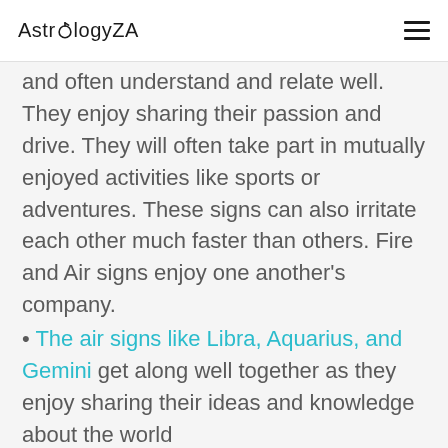AstrologyZA
and often understand and relate well. They enjoy sharing their passion and drive. They will often take part in mutually enjoyed activities like sports or adventures. These signs can also irritate each other much faster than others. Fire and Air signs enjoy one another’s company.
The air signs like Libra, Aquarius, and Gemini get along well together as they enjoy sharing their ideas and knowledge about the world